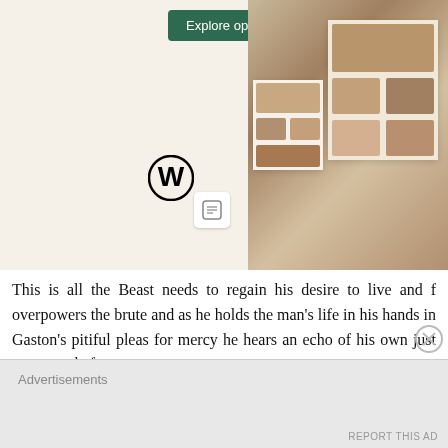[Figure (screenshot): Advertisement banner showing WordPress logo, an 'Explore options' green button, and food/restaurant website screenshots on the right side]
This is all the Beast needs to regain his desire to live and f overpowers the brute and as he holds the man's life in his hands in Gaston's pitiful pleas for mercy he hears an echo of his own just moments before.
His demeanor immediately changes when he hears Belle's vo climbs up to her, and his voice is full of wonder and disbelief But just as she appears to offer that love he had yearned to rece in the back and falls to his death.
Advertisements
REPORT THIS AD